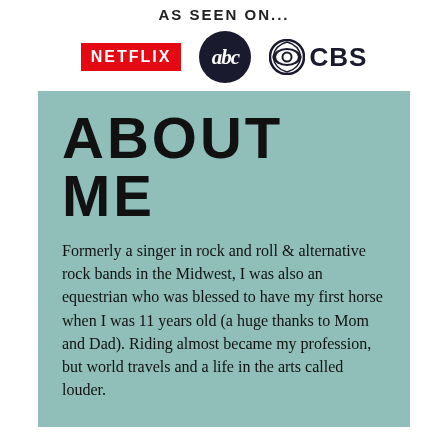AS SEEN ON...
[Figure (logo): Three media logos: Netflix (red rectangle with white bold text), abc (white italic text on dark navy circle), CBS (CBS eye icon with dark navy bold CBS text)]
ABOUT ME
Formerly a singer in rock and roll & alternative rock bands in the Midwest, I was also an equestrian who was blessed to have my first horse when I was 11 years old (a huge thanks to Mom and Dad). Riding almost became my profession, but world travels and a life in the arts called louder.